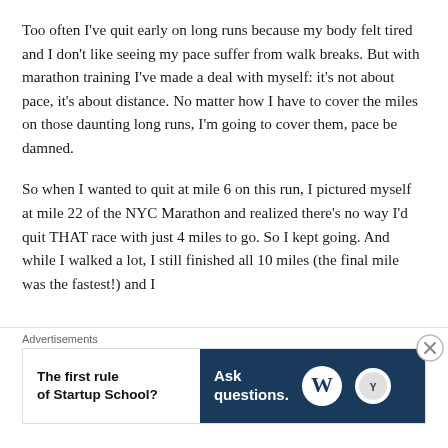Too often I've quit early on long runs because my body felt tired and I don't like seeing my pace suffer from walk breaks. But with marathon training I've made a deal with myself: it's not about pace, it's about distance. No matter how I have to cover the miles on those daunting long runs, I'm going to cover them, pace be damned.
So when I wanted to quit at mile 6 on this run, I pictured myself at mile 22 of the NYC Marathon and realized there's no way I'd quit THAT race with just 4 miles to go. So I kept going. And while I walked a lot, I still finished all 10 miles (the final mile was the fastest!) and I
Advertisements
[Figure (other): Advertisement banner split into two halves: left white section with bold text 'The first rule of Startup School?', right dark navy section with text 'Ask questions.' and WordPress logo and another circular logo.]